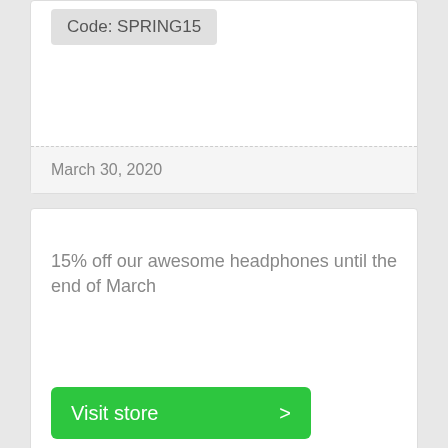Code: SPRING15
March 30, 2020
15% off our awesome headphones until the end of March
Visit store >
Code: URB15
May 31, 2017